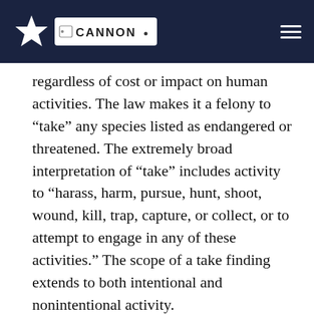Cannon
regardless of cost or impact on human activities. The law makes it a felony to “take” any species listed as endangered or threatened. The extremely broad interpretation of “take” includes activity to “harass, harm, pursue, hunt, shoot, wound, kill, trap, capture, or collect, or to attempt to engage in any of these activities.” The scope of a take finding extends to both intentional and nonintentional activity.
For decades, the U.S. Fish and Wildlife Service (FWS) focused its implementation of the ESA on federal lands and thus had little impact on Texas